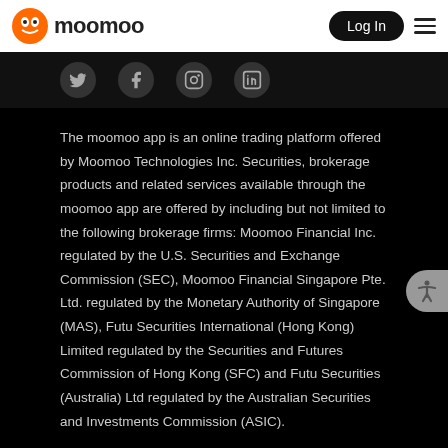moomoo | Log In
[Figure (other): Social media icons row: Twitter, Facebook, Instagram, LinkedIn]
The moomoo app is an online trading platform offered by Moomoo Technologies Inc. Securities, brokerage products and related services available through the moomoo app are offered by including but not limited to the following brokerage firms: Moomoo Financial Inc. regulated by the U.S. Securities and Exchange Commission (SEC), Moomoo Financial Singapore Pte. Ltd. regulated by the Monetary Authority of Singapore (MAS), Futu Securities International (Hong Kong) Limited regulated by the Securities and Futures Commission of Hong Kong (SFC) and Futu Securities (Australia) Ltd regulated by the Australian Securities and Investments Commission (ASIC).
For further information about Moomoo Financial Inc.,